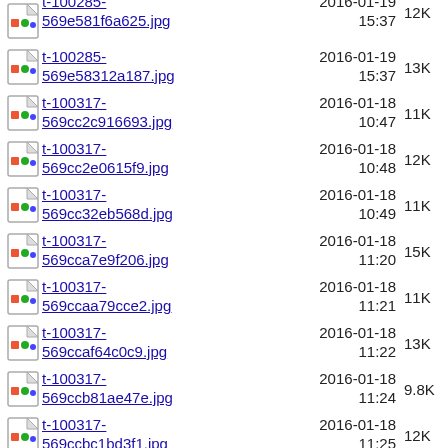t-100285-569e581f6a625.jpg  2016-01-19 15:37  12K
t-100285-569e58312a187.jpg  2016-01-19 15:37  13K
t-100317-569cc2c916693.jpg  2016-01-18 10:47  11K
t-100317-569cc2e0615f9.jpg  2016-01-18 10:48  12K
t-100317-569cc32eb568d.jpg  2016-01-18 10:49  11K
t-100317-569cca7e9f206.jpg  2016-01-18 11:20  15K
t-100317-569ccaa79cce2.jpg  2016-01-18 11:21  11K
t-100317-569ccaf64c0c9.jpg  2016-01-18 11:22  13K
t-100317-569ccb81ae47e.jpg  2016-01-18 11:24  9.8K
t-100317-569ccbc1bd3f1.jpg  2016-01-18 11:25  12K
t-100317-569ccc12db5a1.jpg  2016-01-18 11:27  12K
t-100317-...  2016-01-18  12K